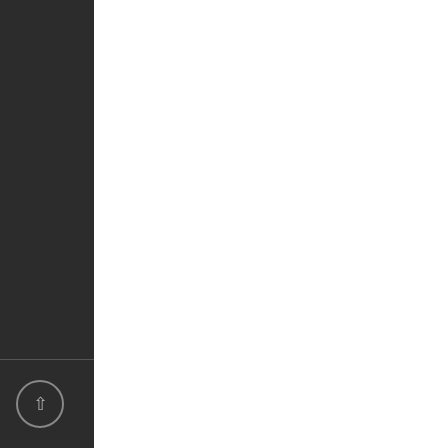not related to the investment are declining. Furthermore, Beneš says that it also pays to borrow to buy real estate. A person with above-average income can get a mortgage at